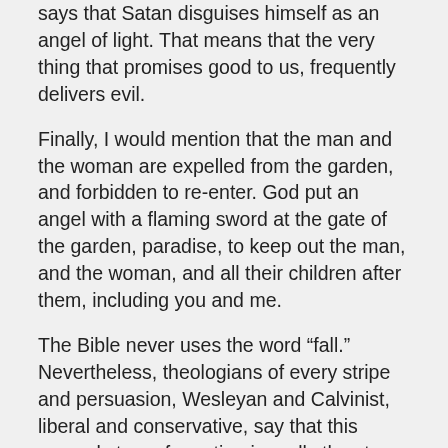says that Satan disguises himself as an angel of light. That means that the very thing that promises good to us, frequently delivers evil.
Finally, I would mention that the man and the woman are expelled from the garden, and forbidden to re-enter. God put an angel with a flaming sword at the gate of the garden, paradise, to keep out the man, and the woman, and all their children after them, including you and me.
The Bible never uses the word “fall.” Nevertheless, theologians of every stripe and persuasion, Wesleyan and Calvinist, liberal and conservative, say that this second story of creation is really the story of humankind’s fall into sin.